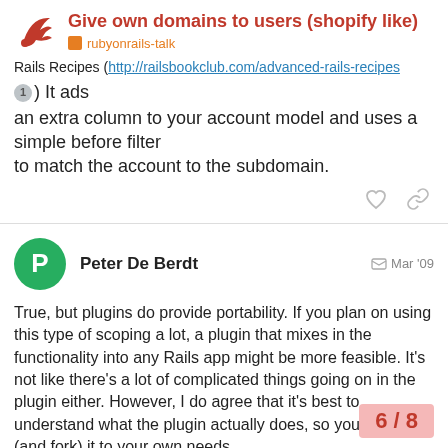Give own domains to users (shopify like)
rubyonrails-talk
Rails Recipes ( http://railsbookclub.com/advanced-rails-recipes ) It ads an extra column to your account model and uses a simple before filter to match the account to the subdomain.
Peter De Berdt   Mar '09
True, but plugins do provide portability. If you plan on using this type of scoping a lot, a plugin that mixes in the functionality into any Rails app might be more feasible. It's not like there's a lot of complicated things going on in the plugin either. However, I do agree that it's best to understand what the plugin actually does, so you can tailor (and fork) it to your own needs.
Best regards
6 / 8